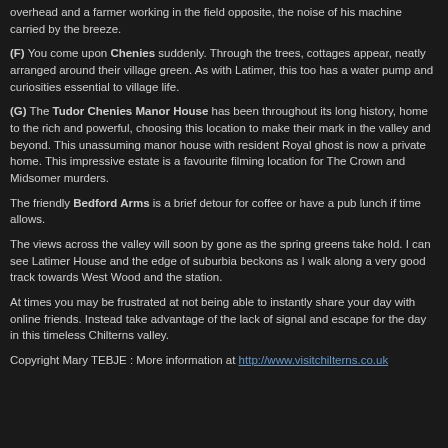overhead and a farmer working in the field opposite, the noise of his machine carried by the breeze.
(F) You come upon Chenies suddenly. Through the trees, cottages appear, neatly arranged around their village green. As with Latimer, this too has a water pump and curiosities essential to village life.
(G) The Tudor Chenies Manor House has been throughout its long history, home to the rich and powerful, choosing this location to make their mark in the valley and beyond. This unassuming manor house with resident Royal ghost is now a private home. This impressive estate is a favourite filming location for The Crown and Midsomer murders.
The friendly Bedford Arms is a brief detour for coffee or have a pub lunch if time allows.
The views across the valley will soon by gone as the spring greens take hold. I can see Latimer House and the edge of suburbia beckons as I walk along a very good track towards West Wood and the station.
At times you may be frustrated at not being able to instantly share your day with online friends. Instead take advantage of the lack of signal and escape for the day in this timeless Chilterns valley.
Copyright Mary TEBJE : More information at http://www.visitchilterns.co.uk